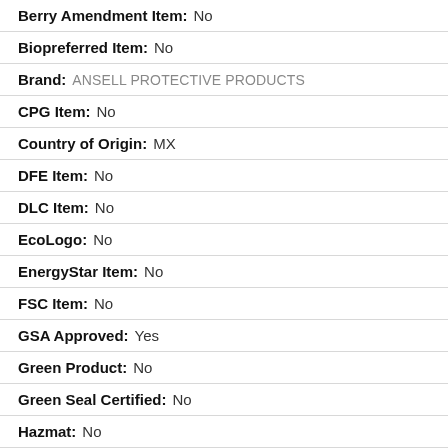Berry Amendment Item: No
Biopreferred Item: No
Brand: ANSELL PROTECTIVE PRODUCTS
CPG Item: No
Country of Origin: MX
DFE Item: No
DLC Item: No
EcoLogo: No
EnergyStar Item: No
FSC Item: No
GSA Approved: Yes
Green Product: No
Green Seal Certified: No
Hazmat: No
MPI Item: No
MPN: 011-501-10
Minimum Quantity: 1